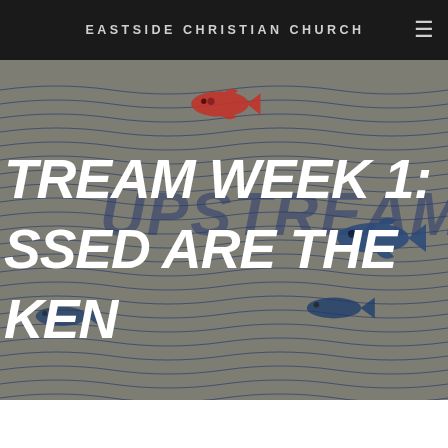EASTSIDE CHRISTIAN CHURCH
[Figure (illustration): Hero image with wavy blue line background pattern on gray/taupe, showing koi/carp fish illustrations (red fish at top center, blue fish at right), with 'UPSTREAM' text watermarked across center, and large bold white italic text overlay reading 'TREAM WEEK 1: SSED ARE THE KEN' (partially cropped titles)]